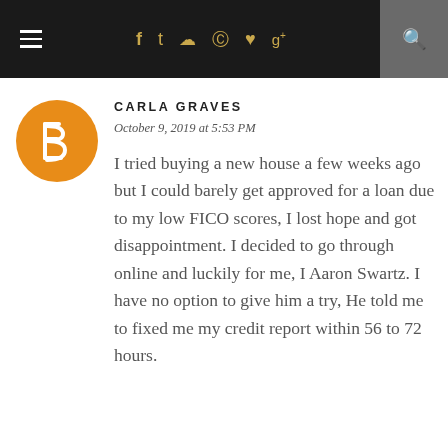☰  f  t  ⊡  ⊕  ♥  g+  🔍
[Figure (logo): Blogger orange circle avatar icon for user Carla Graves]
CARLA GRAVES
October 9, 2019 at 5:53 PM
I tried buying a new house a few weeks ago but I could barely get approved for a loan due to my low FICO scores, I lost hope and got disappointment. I decided to go through online and luckily for me, I Aaron Swartz. I have no option to give him a try, He told me to fixed me my credit report within 56 to 72 hours.